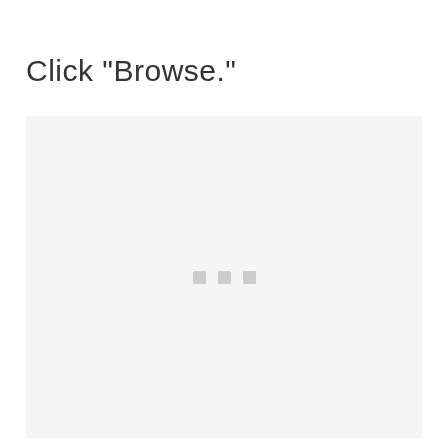Click "Browse."
[Figure (screenshot): A light gray placeholder box with three small gray squares centered vertically, representing a UI screenshot area for image upload.]